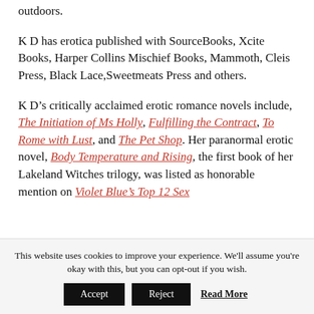outdoors.
K D has erotica published with SourceBooks, Xcite Books, Harper Collins Mischief Books, Mammoth, Cleis Press, Black Lace,Sweetmeats Press and others.
K D’s critically acclaimed erotic romance novels include, The Initiation of Ms Holly, Fulfilling the Contract, To Rome with Lust, and The Pet Shop. Her paranormal erotic novel, Body Temperature and Rising, the first book of her Lakeland Witches trilogy, was listed as honorable mention on Violet Blue’s Top 12 Sex
This website uses cookies to improve your experience. We'll assume you're okay with this, but you can opt-out if you wish. Accept Reject Read More